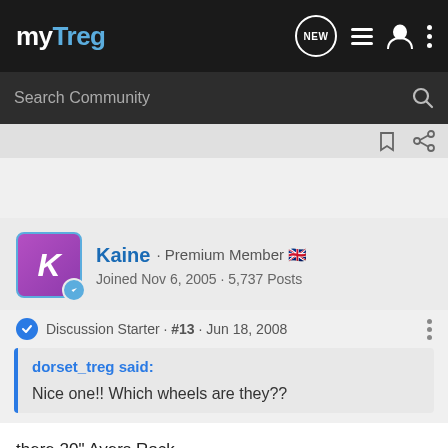myTreg
Search Community
Kaine · Premium Member 🇬🇧
Joined Nov 6, 2005 · 5,737 Posts
Discussion Starter · #13 · Jun 18, 2008
dorset_treg said:

Nice one!!  Which wheels are they??
there 20" Ayers Rock